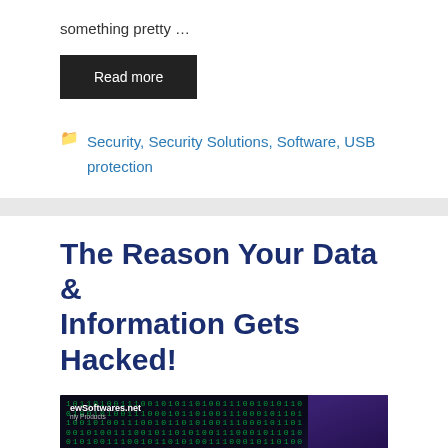something pretty …
Read more
Security, Security Solutions, Software, USB protection
The Reason Your Data & Information Gets Hacked!
[Figure (photo): Dark hacking-themed image with green matrix-style binary code raining down, text 'YOU HAVE BEEN HACKED' in green on screen, silhouette of a person in background, with newSoftwares.net branding in top left corner.]